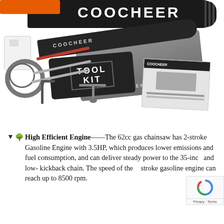[Figure (photo): Product photo of a COOCHEER branded gas chainsaw with accessories laid out including guide bar, chain, oil canister, tool kit bag, carry bag, tools, T-socket wrench, and instruction manual on a white background.]
High Efficient Engine—-The 62cc gas chainsaw has 2-stroke Gasoline Engine with 3.5HP, which produces lower emissions and fuel consumption, and can deliver steady power to the 35-inch and low- kickback chain. The speed of the 2-stroke gasoline engine can reach up to 8500 rpm.